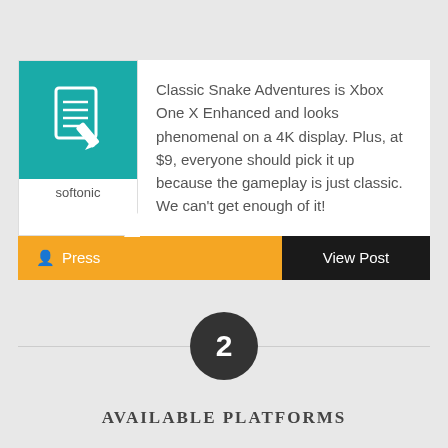[Figure (logo): Softonic logo: teal square background with a notepad and pencil icon, labeled 'softonic' below]
Classic Snake Adventures is Xbox One X Enhanced and looks phenomenal on a 4K display. Plus, at $9, everyone should pick it up because the gameplay is just classic. We can't get enough of it!
Press
View Post
2
AVAILABLE PLATFORMS